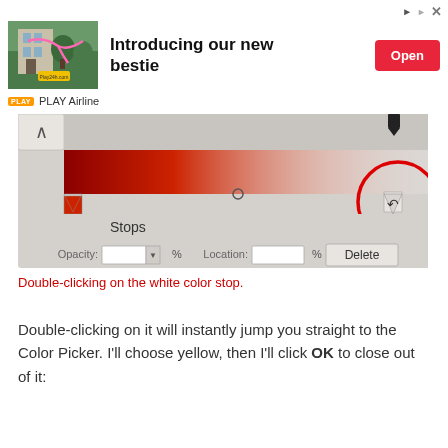[Figure (screenshot): Advertisement banner for PLAY Airline showing a travel image and 'Introducing our new bestie' text with an Open button]
[Figure (screenshot): Photoshop gradient editor panel showing a red-to-white gradient with a circled white color stop marker on the right end]
Double-clicking on the white color stop.
Double-clicking on it will instantly jump you straight to the Color Picker. I'll choose yellow, then I'll click OK to close out of it: